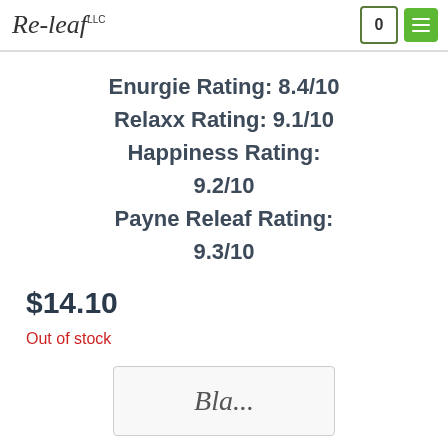Re-leaf LLC
Enurgie Rating: 8.4/10
Relaxx Rating: 9.1/10
Happiness Rating: 9.2/10
Payne Releaf Rating: 9.3/10
$14.10
Out of stock
[Figure (illustration): Partial image of a product label or logo at the bottom of the page, appears to show cursive text]